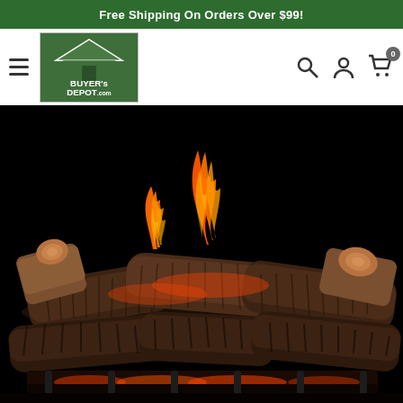Free Shipping On Orders Over $99!
[Figure (logo): Buyer's Depot .com logo — house icon with green roof on green background with white text]
[Figure (photo): Gas fireplace log set with realistic ceramic wood logs and orange flames burning against a black background]